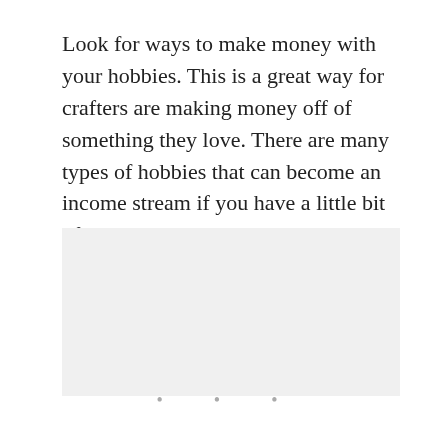Look for ways to make money with your hobbies. This is a great way for crafters are making money off of something they love. There are many types of hobbies that can become an income stream if you have a little bit of creativity and are willing to put in the time to make it profitable.
[Figure (other): A light gray rectangular placeholder image area]